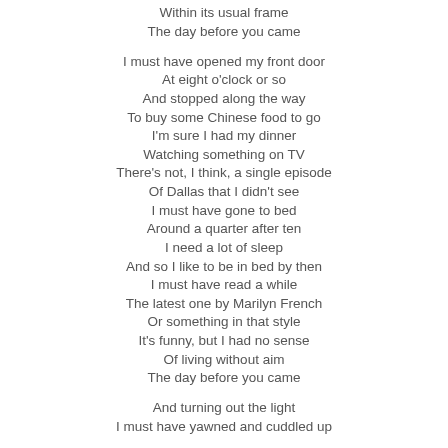Within its usual frame
The day before you came

I must have opened my front door
At eight o'clock or so
And stopped along the way
To buy some Chinese food to go
I'm sure I had my dinner
Watching something on TV
There's not, I think, a single episode
Of Dallas that I didn't see
I must have gone to bed
Around a quarter after ten
I need a lot of sleep
And so I like to be in bed by then
I must have read a while
The latest one by Marilyn French
Or something in that style
It's funny, but I had no sense
Of living without aim
The day before you came

And turning out the light
I must have yawned and cuddled up